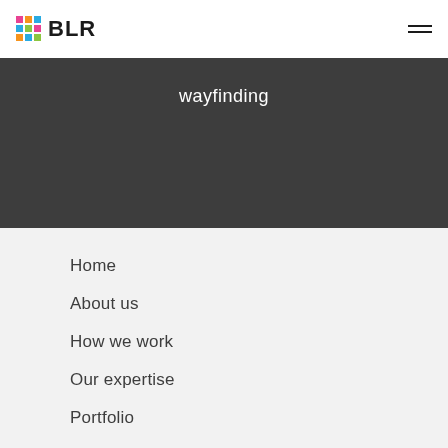BLR
wayfinding
Home
About us
How we work
Our expertise
Portfolio
Contact
Blog